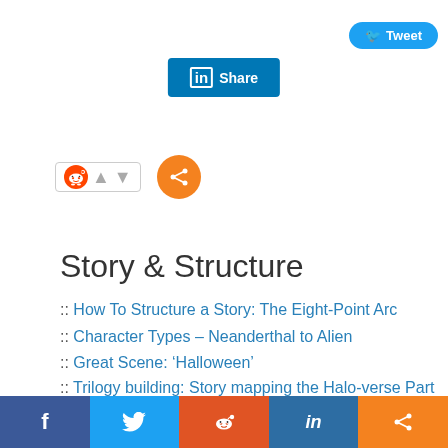[Figure (screenshot): Tweet button (blue rounded) and LinkedIn Share button (blue rectangle with 'in' icon)]
[Figure (screenshot): Reddit social widget with alien icon, up/down arrows, and orange share circle button]
Story & Structure
:: How To Structure a Story: The Eight-Point Arc
:: Character Types – Neanderthal to Alien
:: Great Scene: 'Halloween'
:: Trilogy building: Story mapping the Halo-verse Part 1
:: The Magic of World Building
:: Writing Exposition and 'Little Miss Sunshine'
:: Amateur Friday: 'Home For The Holidays'
[Figure (screenshot): Bottom social share bar with Facebook, Twitter, Reddit, LinkedIn, and share icons]